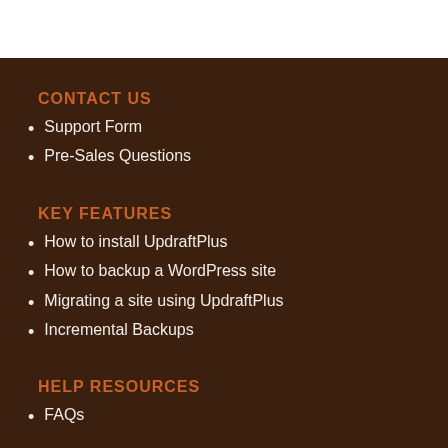CONTACT US
Support Form
Pre-Sales Questions
KEY FEATURES
How to install UpdraftPlus
How to backup a WordPress site
Migrating a site using UpdraftPlus
Incremental Backups
HELP RESOURCES
FAQs